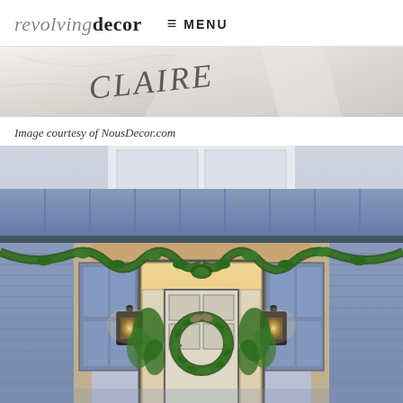revolvingdecor  ≡ MENU
[Figure (photo): Partial view of a marble or light surface with handwritten 'CLAIRE' text in dark ink]
Image courtesy of NousDecor.com
[Figure (photo): Exterior of a house porch decorated with Christmas garland and a wreath on the front door, with lantern wall lights illuminated, blue/gray siding and a metal roof visible]